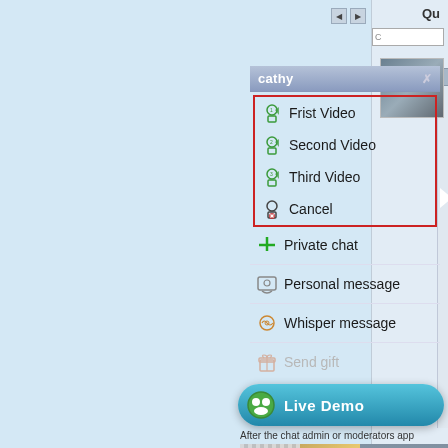[Figure (screenshot): Chat application context menu for user 'cathy' showing options: Frist Video, Second Video, Third Video, Cancel (in red-bordered box), Private chat, Personal message, Whisper message, Send gift (greyed out). A Live Demo button is shown below. Background is light blue.]